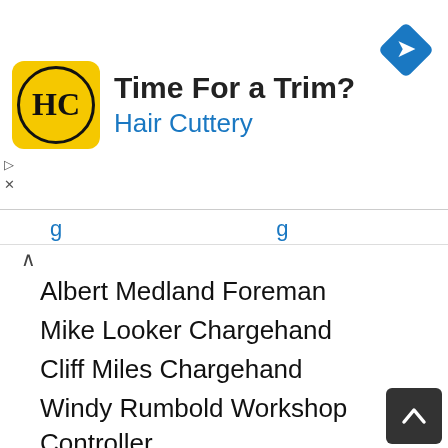[Figure (screenshot): Hair Cuttery advertisement banner with yellow logo, text 'Time For a Trim?' and 'Hair Cuttery', and a blue navigation diamond icon]
Albert Medland Foreman
Mike Looker Chargehand
Cliff Miles Chargehand
Windy Rumbold Workshop Controller
Geoff Pike Reception Manager
Vic Spurgeon Reception
Reg Northwood Stores Manager
Reg Carrapiett Costoffice Manager
Dave Tew Workshop / Admin
Les Brady Mechanic
Claude Reid Mechanic